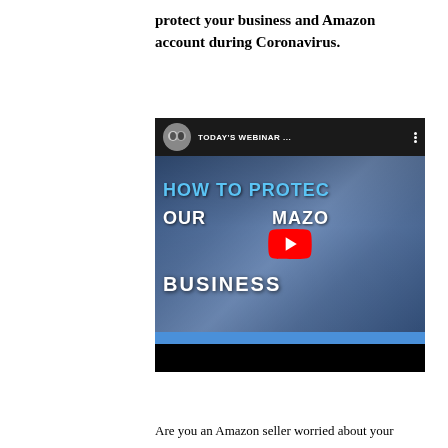protect your business and Amazon account during Coronavirus.
[Figure (screenshot): YouTube video thumbnail embed showing a webinar titled 'HOW TO PROTECT YOUR AMAZON BUSINESS' with a play button overlay and two presenters in avatar circle.]
Are you an Amazon seller worried about your